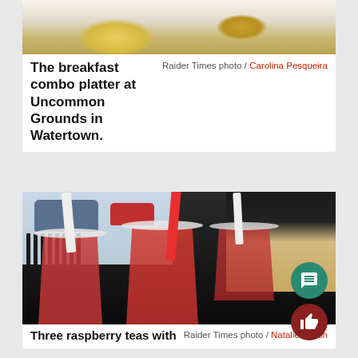[Figure (photo): Photo of breakfast combo platter at Uncommon Grounds in Watertown, showing food on a plate with a light background]
The breakfast combo platter at Uncommon Grounds in Watertown.
Raider Times photo / Carolina Pesqueira
[Figure (photo): Three raspberry teas with straws in clear plastic cups with lids, sitting on a dark table inside a cafe. Cars and a fence visible through the window in the background. A person in a cream sweater visible on the right.]
Three raspberry teas with
Raider Times photo / Natalie Finton